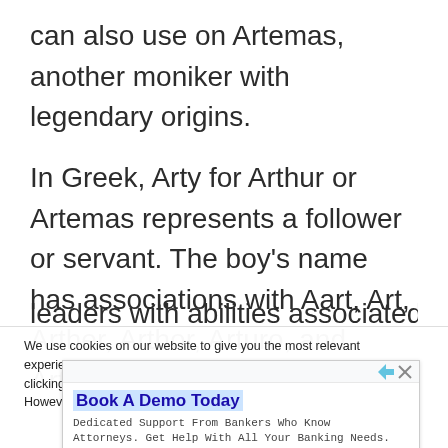can also use on Artemas, another moniker with legendary origins.
In Greek, Arty for Arthur or Artemas represents a follower or servant. The boy’s name has associations with Aart, Art, Arther, Arthor, Arturo, and Artus. Successful
We use cookies on our website to give you the most relevant experience by remembering your preferences and repeat visits. By clicking “Accept All”, you consent to the use of ALL the cookies. However, you may visit “Cookie Settings” to
[Figure (infographic): Advertisement banner: Book A Demo Today - Dedicated Support From Bankers Who Know Attorneys. Get Help With All Your Banking Needs. Open button.]